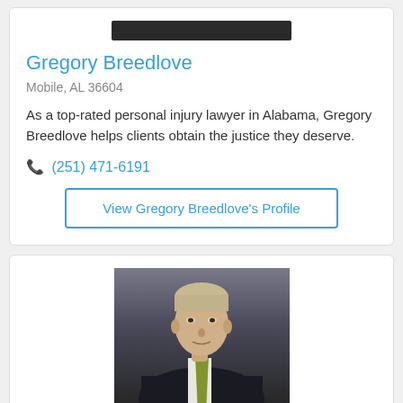[Figure (photo): Partial photo of attorney at top of first card, dark background]
Gregory Breedlove
Mobile, AL 36604
As a top-rated personal injury lawyer in Alabama, Gregory Breedlove helps clients obtain the justice they deserve.
☎ (251) 471-6191
View Gregory Breedlove's Profile
[Figure (photo): Professional headshot of an older man in a dark suit with a yellow patterned tie, gray background]